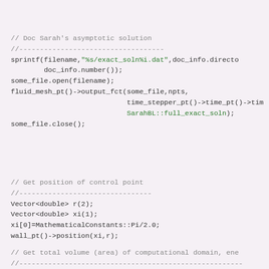// Doc Sarah's asymptotic solution
//-----------------------------------
sprintf(filename,"%s/exact_soln%i.dat",doc_info.directo
        doc_info.number());
some_file.open(filename);
fluid_mesh_pt()->output_fct(some_file,npts,
                            time_stepper_pt()->time_pt()->tim
                            SarahBL::full_exact_soln);
some_file.close();
// Get position of control point
//--------------------------------
Vector<double> r(2);
Vector<double> xi(1);
xi[0]=MathematicalConstants::Pi/2.0;
wall_pt()->position(xi,r);
// Get total volume (area) of computational domain, ene
//------------------------------------------------------
// pressure